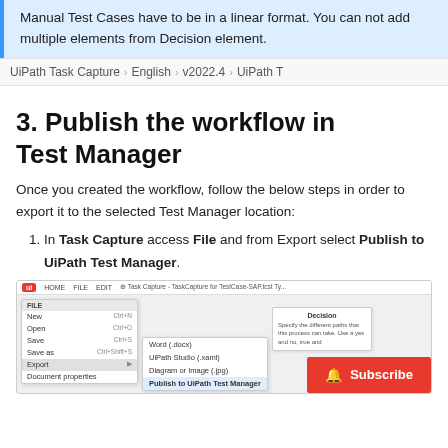Manual Test Cases have to be in a linear format. You can not add multiple elements from Decision element.
UiPath Task Capture > English > v2022.4 > UiPath T
3. Publish the workflow in Test Manager
Once you created the workflow, follow the below steps in order to export it to the selected Test Manager location:
1. In Task Capture access File and from Export select Publish to UiPath Test Manager.
[Figure (screenshot): Screenshot of UiPath Task Capture application showing File menu open with Export submenu expanded, highlighting 'Publish to UiPath Test Manager' option. A Decision element panel is visible on the right side. A red Subscribe button overlays the bottom right.]